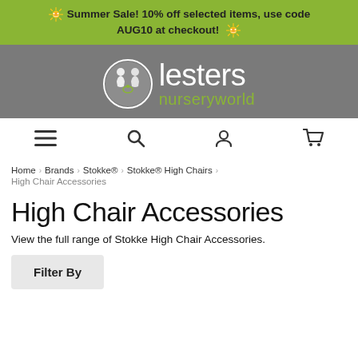Summer Sale! 10% off selected items, use code AUG10 at checkout!
[Figure (logo): Lesters Nurseryworld logo: white circle with baby figure icons, white 'lesters' text and green 'nurseryworld' text on grey background]
Navigation icons: hamburger menu, search, account, cart
Home > Brands > Stokke® > Stokke® High Chairs > High Chair Accessories
High Chair Accessories
View the full range of Stokke High Chair Accessories.
Filter By